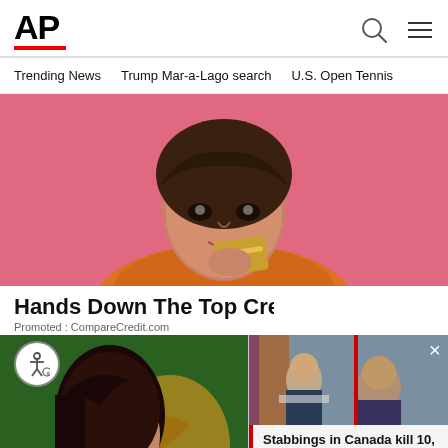AP
Trending News   Trump Mar-a-Lago search   U.S. Open Tennis
[Figure (photo): Young woman with bangs holding a gold credit card against a pink background]
Hands Down The Top Credit C
Promoted : CompareCredit.com
[Figure (photo): Woman with dark hair against green and gold background, partial view]
[Figure (photo): Breaking news overlay image showing officials and suspect headshots related to Canada stabbings]
Stabbings in Canada kill 10, wound 15; suspect...